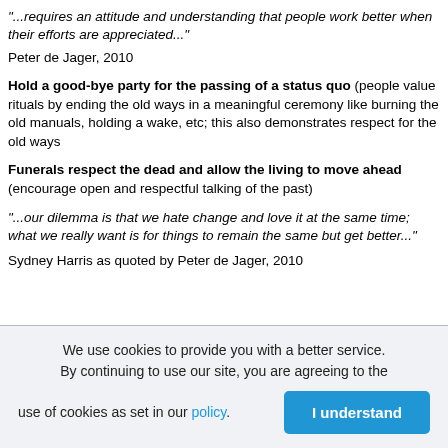"...requires an attitude and understanding that people work better when their efforts are appreciated..."
Peter de Jager, 2010
Hold a good-bye party for the passing of a status quo (people value rituals by ending the old ways in a meaningful ceremony like burning the old manuals, holding a wake, etc; this also demonstrates respect for the old ways
Funerals respect the dead and allow the living to move ahead (encourage open and respectful talking of the past)
"...our dilemma is that we hate change and love it at the same time; what we really want is for things to remain the same but get better..."
Sydney Harris as quoted by Peter de Jager, 2010
We use cookies to provide you with a better service. By continuing to use our site, you are agreeing to the use of cookies as set in our policy.